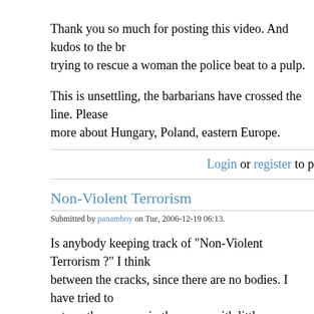Thank you so much for posting this video. And kudos to the br trying to rescue a woman the police beat to a pulp.
This is unsettling, the barbarians have crossed the line. Please more about Hungary, Poland, eastern Europe.
Login or register to p
Non-Violent Terrorism
Submitted by panamboy on Tue, 2006-12-19 06:13.
Is anybody keeping track of "Non-Violent Terrorism ?" I think between the cracks, since there are no bodies. I have tried to acts as they appear in the news, with little or no news coverag One of the most recent, that was a major victory for Islam, wa about several Imams actions on a US air plane flight. Islam is, our racial and religious sensitivities against us. Their ability to change how we live or how our customs of going about our ev They want us to change what we eat, say, teach, build, play ar laws, to name a few. If we continue to make these accommoda